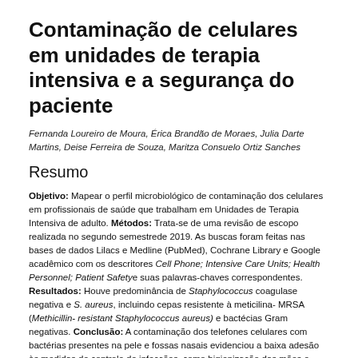Contaminação de celulares em unidades de terapia intensiva e a segurança do paciente
Fernanda Loureiro de Moura, Érica Brandão de Moraes, Julia Darte Martins, Deise Ferreira de Souza, Maritza Consuelo Ortiz Sanches
Resumo
Objetivo: Mapear o perfil microbiológico de contaminação dos celulares em profissionais de saúde que trabalham em Unidades de Terapia Intensiva de adulto. Métodos: Trata-se de uma revisão de escopo realizada no segundo semestrede 2019. As buscas foram feitas nas bases de dados Lilacs e Medline (PubMed), Cochrane Library e Google acadêmico com os descritores Cell Phone; Intensive Care Units; Health Personnel; Patient Safetye suas palavras-chaves correspondentes. Resultados: Houve predominância de Staphylococcus coagulase negativa e S. aureus, incluindo cepas resistente à meticilina- MRSA (Methicillin- resistant Staphylococcus aureus) e bactécias Gram negativas. Conclusão: A contaminação dos telefones celulares com bactérias presentes na pele e fossas nasais evidenciou a baixa adesão às medidas de controle de infecções, como higienização das mãos e desinfecção de objetos. Identificou-se que tal contaminação está aliada à falta